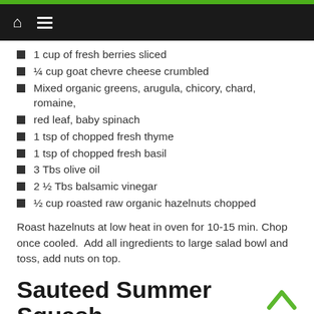1 cup of fresh berries sliced
¼ cup goat chevre cheese crumbled
Mixed organic greens, arugula, chicory, chard, romaine,
red leaf, baby spinach
1 tsp of chopped fresh thyme
1 tsp of chopped fresh basil
3 Tbs olive oil
2 ½ Tbs balsamic vinegar
½ cup roasted raw organic hazelnuts chopped
Roast hazelnuts at low heat in oven for 10-15 min. Chop once cooled.  Add all ingredients to large salad bowl and toss, add nuts on top.
Sauteed Summer Squash